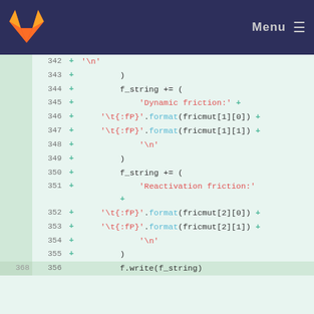GitLab — Menu
[Figure (screenshot): GitLab code diff view showing Python code lines 342–356 with added lines marked with + signs, containing f_string concatenations with string formatting calls for Dynamic friction and Reactivation friction values.]